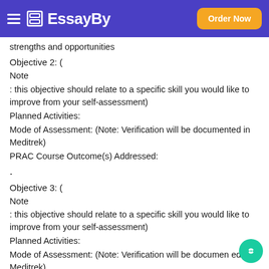EssayBy — Order Now
strengths and opportunities
Objective 2: (
Note
: this objective should relate to a specific skill you would like to improve from your self-assessment)
Planned Activities:
Mode of Assessment: (Note: Verification will be documented in Meditrek)
PRAC Course Outcome(s) Addressed:
.
Objective 3: (
Note
: this objective should relate to a specific skill you would like to improve from your self-assessment)
Planned Activities:
Mode of Assessment: (Note: Verification will be documented in Meditrek)